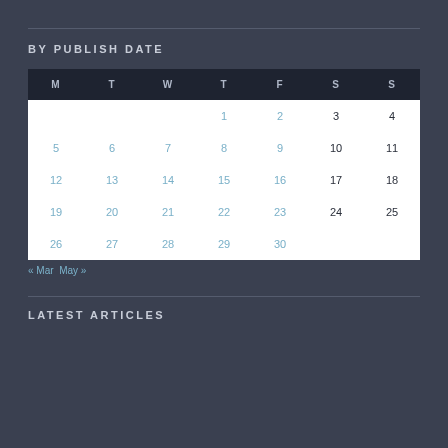BY PUBLISH DATE
| M | T | W | T | F | S | S |
| --- | --- | --- | --- | --- | --- | --- |
|  |  |  | 1 | 2 | 3 | 4 |
| 5 | 6 | 7 | 8 | 9 | 10 | 11 |
| 12 | 13 | 14 | 15 | 16 | 17 | 18 |
| 19 | 20 | 21 | 22 | 23 | 24 | 25 |
| 26 | 27 | 28 | 29 | 30 |  |  |
« Mar  May »
LATEST ARTICLES